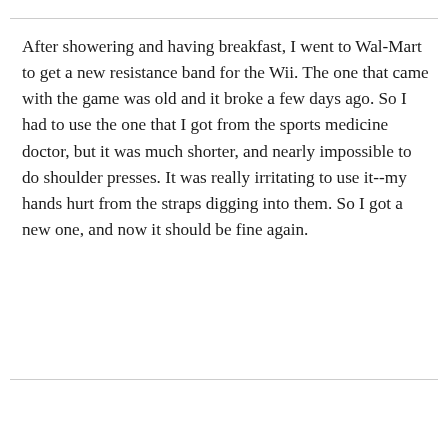After showering and having breakfast, I went to Wal-Mart to get a new resistance band for the Wii. The one that came with the game was old and it broke a few days ago. So I had to use the one that I got from the sports medicine doctor, but it was much shorter, and nearly impossible to do shoulder presses. It was really irritating to use it--my hands hurt from the straps digging into them. So I got a new one, and now it should be fine again.